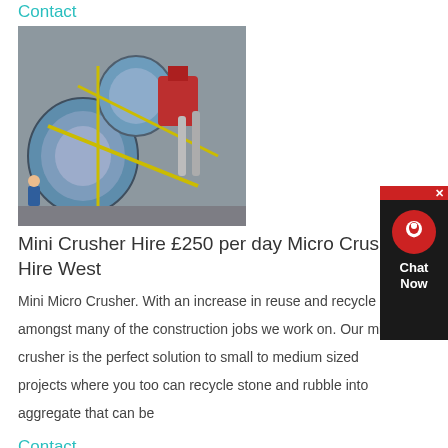Contact
[Figure (photo): Aerial/overhead view of a large industrial mini crusher / mining machine with blue cylindrical drums and yellow framework]
Mini Crusher Hire £250 per day Micro Crusher Hire West
Mini Micro Crusher. With an increase in reuse and recycle amongst many of the construction jobs we work on. Our mini crusher is the perfect solution to small to medium sized projects where you too can recycle stone and rubble into aggregate that can be
Contact
[Figure (photo): Excavator / digger with orange arm working near a forest tree line]